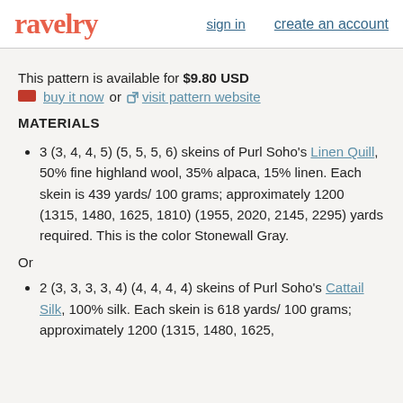ravelry  sign in  create an account
This pattern is available for $9.80 USD
buy it now or visit pattern website
MATERIALS
3 (3, 4, 4, 5) (5, 5, 5, 6) skeins of Purl Soho's Linen Quill, 50% fine highland wool, 35% alpaca, 15% linen. Each skein is 439 yards/ 100 grams; approximately 1200 (1315, 1480, 1625, 1810) (1955, 2020, 2145, 2295) yards required. This is the color Stonewall Gray.
Or
2 (3, 3, 3, 3, 4) (4, 4, 4, 4) skeins of Purl Soho's Cattail Silk, 100% silk. Each skein is 618 yards/ 100 grams; approximately 1200 (1315, 1480, 1625,